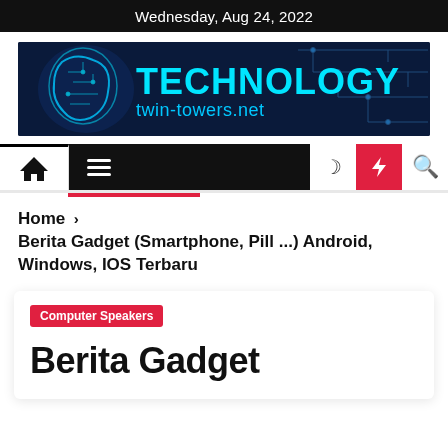Wednesday, Aug 24, 2022
[Figure (logo): Technology twin-towers.net banner logo with blue circuit board brain graphic and cyan text on dark navy background]
[Figure (screenshot): Navigation bar with home icon, hamburger menu on black background, moon icon, red lightning bolt button, and search icon]
Home > Berita Gadget (Smartphone, Pill ...) Android, Windows, IOS Terbaru
Computer Speakers
Berita Gadget